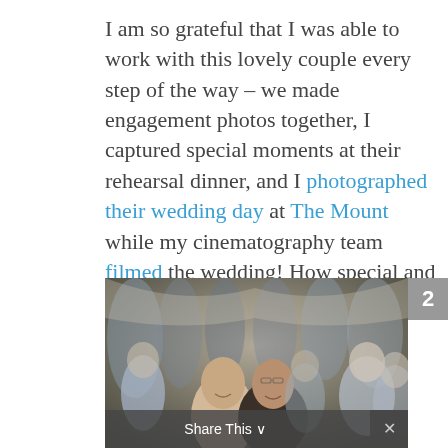I am so grateful that I was able to work with this lovely couple every step of the way – we made engagement photos together, I captured special moments at their rehearsal dinner, and I photographed their wedding day at The Mount while my cinematography team filmed the wedding! How special and wonderful to be invited in to such an important time for their family.
[Figure (photo): A couple smiling in the foreground amid a crowd of guests at a wedding event, photographed in a candid outdoor setting.]